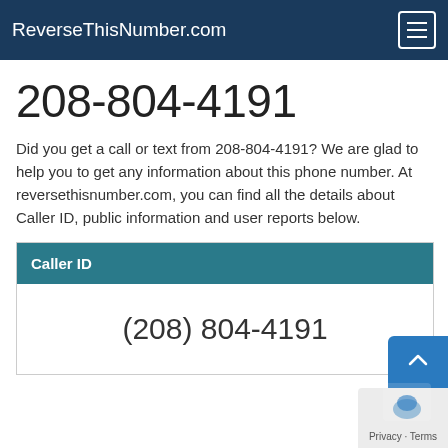ReverseThisNumber.com
208-804-4191
Did you get a call or text from 208-804-4191? We are glad to help you to get any information about this phone number. At reversethisnumber.com, you can find all the details about Caller ID, public information and user reports below.
| Caller ID |
| --- |
| (208) 804-4191 |